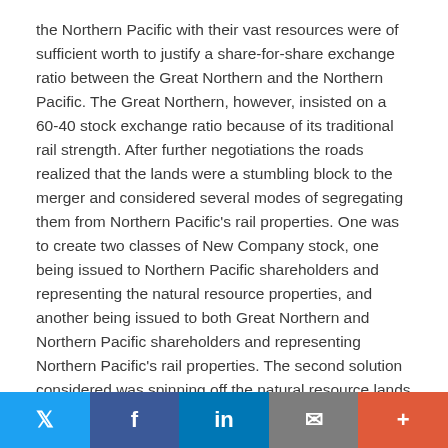the Northern Pacific with their vast resources were of sufficient worth to justify a share-for-share exchange ratio between the Great Northern and the Northern Pacific. The Great Northern, however, insisted on a 60-40 stock exchange ratio because of its traditional rail strength. After further negotiations the roads realized that the lands were a stumbling block to the merger and considered several modes of segregating them from Northern Pacific's rail properties. One was to create two classes of New Company stock, one being issued to Northern Pacific shareholders and representing the natural resource properties, and another being issued to both Great Northern and Northern Pacific shareholders and representing Northern Pacific's rail properties. The second solution considered was spinning off the natural resource lands into another corporation and using the proceeds from an issuance of its stock as a